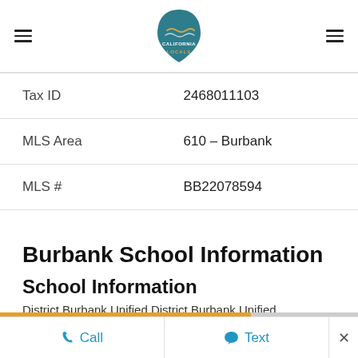California Locals (logo)
| Field | Value |
| --- | --- |
| Tax ID | 2468011103 |
| MLS Area | 610 – Burbank |
| MLS # | BB22078594 |
Burbank School Information
School Information
District Burbank Unified District Burbank Unified
Call   Text   ×